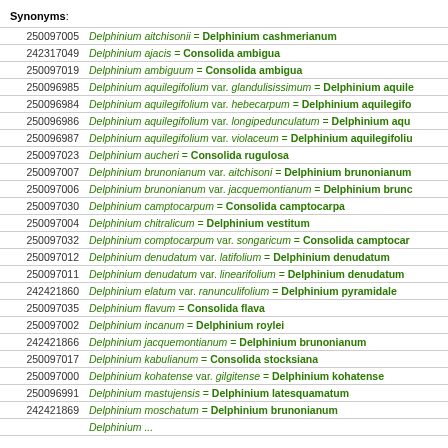Synonyms:
| ID | Synonym = Accepted Name |
| --- | --- |
| 250097005 | Delphinium aitchisonii = Delphinium cashmerianum |
| 242317049 | Delphinium ajacis = Consolida ambigua |
| 250097019 | Delphinium ambiguum = Consolida ambigua |
| 250096985 | Delphinium aquilegifolium var. glandulisissimum = Delphinium aquile |
| 250096984 | Delphinium aquilegifolium var. hebecarpum = Delphinium aquilegifo |
| 250096986 | Delphinium aquilegifolium var. longipedunculatum = Delphinium aqu |
| 250096987 | Delphinium aquilegifolium var. violaceum = Delphinium aquilegifoliu |
| 250097023 | Delphinium aucheri = Consolida rugulosa |
| 250097007 | Delphinium brunonianum var. aitchisoni = Delphinium brunonianum |
| 250097006 | Delphinium brunonianum var. jacquemontianum = Delphinium brunc |
| 250097030 | Delphinium camptocarpum = Consolida camptocarpa |
| 250097004 | Delphinium chitralicum = Delphinium vestitum |
| 250097032 | Delphinium comptocarpum var. songaricum = Consolida camptocar |
| 250097012 | Delphinium denudatum var. latifolium = Delphinium denudatum |
| 250097011 | Delphinium denudatum var. linearifolium = Delphinium denudatum |
| 242421860 | Delphinium elatum var. ranunculifolium = Delphinium pyramidale |
| 250097035 | Delphinium flavum = Consolida flava |
| 250097002 | Delphinium incanum = Delphinium roylei |
| 242421866 | Delphinium jacquemontianum = Delphinium brunonianum |
| 250097017 | Delphinium kabulianum = Consolida stocksiana |
| 250097000 | Delphinium kohatense var. gilgitense = Delphinium kohatense |
| 250096991 | Delphinium mastujensis = Delphinium latesquamatum |
| 242421869 | Delphinium moschatum = Delphinium brunonianum |